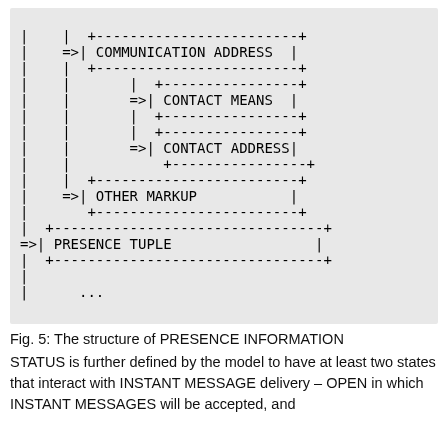[Figure (schematic): ASCII art tree diagram showing the structure of PRESENCE INFORMATION with nested boxes for COMMUNICATION ADDRESS, CONTACT MEANS, CONTACT ADDRESS, OTHER MARKUP, and PRESENCE TUPLE]
Fig. 5: The structure of PRESENCE INFORMATION
STATUS is further defined by the model to have at least two states that interact with INSTANT MESSAGE delivery – OPEN in which INSTANT MESSAGES will be accepted, and